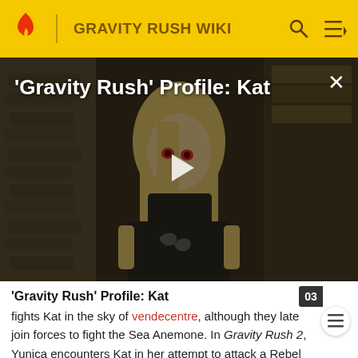GRAVITY RUSH WIKI
[Figure (screenshot): Anime-style character (Kat) with blonde hair and red eyes against a dark stone background, used as a video thumbnail for 'Gravity Rush' Profile: Kat. A white play button triangle is centered on the image. An X close button is in the top right corner.]
'Gravity Rush' Profile: Kat
fights Kat in the sky of vendecentre, although they late join forces to fight the Sea Anemone. In Gravity Rush 2, Yunica encounters Kat in her attempt to attack a Rebel spy, and later she tries to convince her that she is fighting